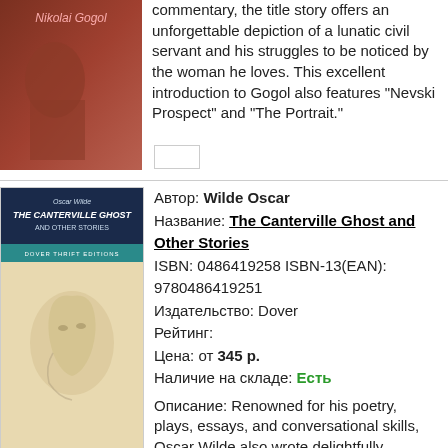[Figure (illustration): Book cover for a Nikolai Gogol collection, dark reddish-brown background with author name 'Nikolai Gogol' in pink/red text]
commentary, the title story offers an unforgettable depiction of a lunatic civil servant and his struggles to be noticed by the woman he loves. This excellent introduction to Gogol also features "Nevski Prospect" and "The Portrait."
[Figure (illustration): Book cover of 'The Canterville Ghost and Other Stories' by Oscar Wilde, Dover Thrift Editions. Dark blue top with title text, teal banner with Dover Thrift Editions, and a pencil sketch of a man's face on beige background.]
Автор: Wilde Oscar
Название: The Canterville Ghost and Other Stories
ISBN: 0486419258 ISBN-13(EAN): 9780486419251
Издательство: Dover
Рейтинг:
Цена: от 345 р.
Наличие на складе: Есть

Описание: Renowned for his poetry, plays, essays, and conversational skills, Oscar Wilde also wrote delightfully entertaining works of short fiction. This volume contains four of his finest. Most celebrated is The Canterville Ghost, a delightfully comical tale centering around the ghost of Sir Simon de Canterville, who for some 300 years has terrorized the residents and employees of Canterville Chase. When the American...